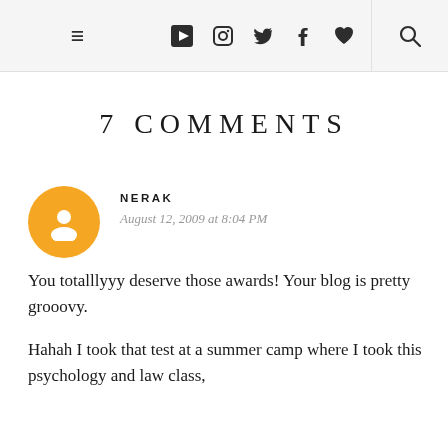≡ ▶ 📷 🐦 f ♥ 🔍
7 COMMENTS
NERAK
August 12, 2009 at 8:04 PM

You totalllyyy deserve those awards! Your blog is pretty grooovy.

Hahah I took that test at a summer camp where I took this psychology and law class,